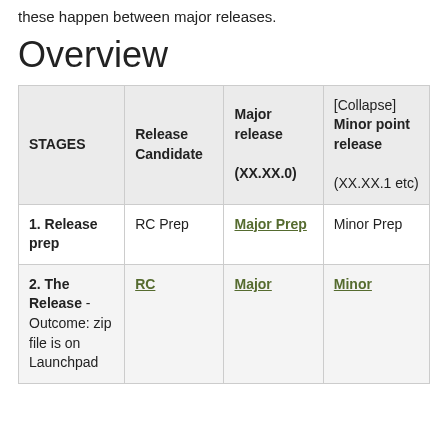these happen between major releases.
Overview
| STAGES | Release Candidate | Major release (XX.XX.0) | [Collapse] Minor point release (XX.XX.1 etc) |
| --- | --- | --- | --- |
| 1. Release prep | RC Prep | Major Prep | Minor Prep |
| 2. The Release - Outcome: zip file is on Launchpad | RC | Major | Minor |